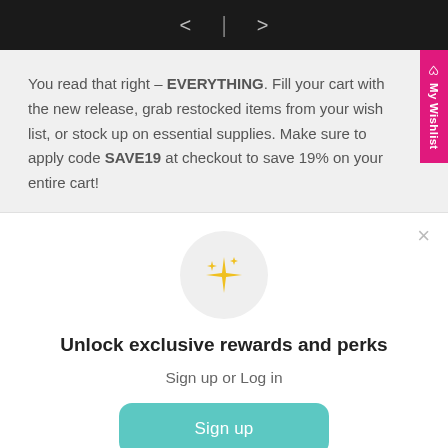< | >
You read that right – EVERYTHING. Fill your cart with the new release, grab restocked items from your wish list, or stock up on essential supplies. Make sure to apply code SAVE19 at checkout to save 19% on your entire cart!
[Figure (illustration): Sparkle/stars icon inside a light gray circle]
Unlock exclusive rewards and perks
Sign up or Log in
Sign up
Already have an account? Sign in
All of our December Release products are HERE in the MFT